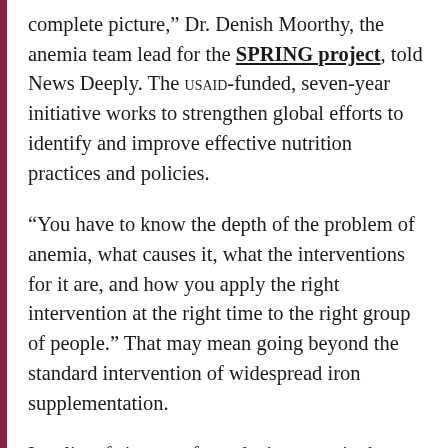complete picture,” Dr. Denish Moorthy, the anemia team lead for the SPRING project, told News Deeply. The USAID-funded, seven-year initiative works to strengthen global efforts to identify and improve effective nutrition practices and policies.
“You have to know the depth of the problem of anemia, what causes it, what the interventions for it are, and how you apply the right intervention at the right time to the right group of people.” That may mean going beyond the standard intervention of widespread iron supplementation.
In a list of six steps for reducing anemia that SPRING released late last year, they encouraged